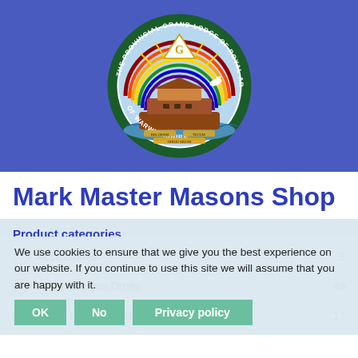[Figure (logo): Circular logo of The Provincial Grand Lodge of Royal Ark Mariners of Warwickshire, featuring a rainbow, Noah's ark, a dove, and a pyramid with G symbol, on a blue-purple background banner]
Mark Master Masons Shop
Product categories
We use cookies to ensure that we give you the best experience on our website. If you continue to use this site we will assume that you are happy with it.
Accessories  3
Apron Badges Dress  49
Apron Badges Undress  17